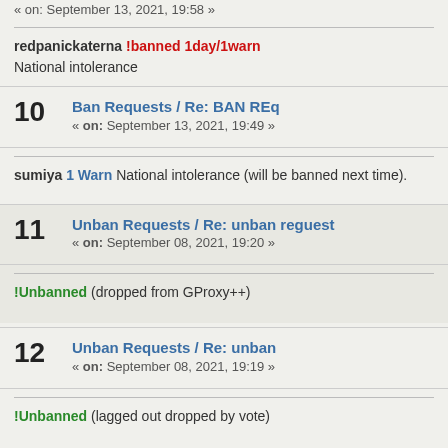« on: September 13, 2021, 19:58 »
redpanickaterna !banned 1day/1warn
National intolerance
10  Ban Requests / Re: BAN REq
« on: September 13, 2021, 19:49 »
sumiya 1 Warn National intolerance (will be banned next time).
11  Unban Requests / Re: unban reguest
« on: September 08, 2021, 19:20 »
!Unbanned (dropped from GProxy++)
12  Unban Requests / Re: unban
« on: September 08, 2021, 19:19 »
!Unbanned (lagged out dropped by vote)